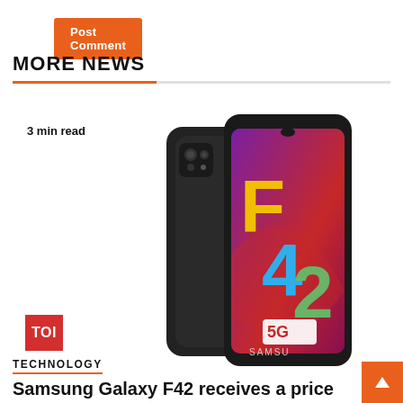[Figure (screenshot): Orange 'Post Comment' button at top of page]
MORE NEWS
3 min read
[Figure (photo): Samsung Galaxy F42 5G smartphone product image showing front and back of phone, with 'F42 5G' displayed on the screen in colorful letters on a purple background]
[Figure (logo): TOI (Times of India) red logo square]
TECHNOLOGY
Samsung Galaxy F42 receives a price cut in India: All the details – Times of